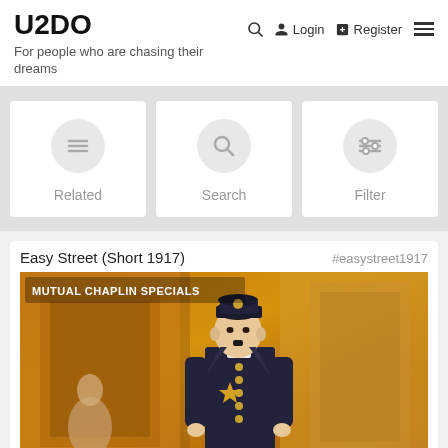U2DO
For people who are chasing their dreams
Login  Register
[Figure (screenshot): Navigation cards with icons for Related, Search, and Filter]
Easy Street (Short 1917)  #easystreet1917
[Figure (photo): Vintage movie poster for Easy Street (1917) Mutual Chaplin Specials showing Charlie Chaplin dressed as a police officer]